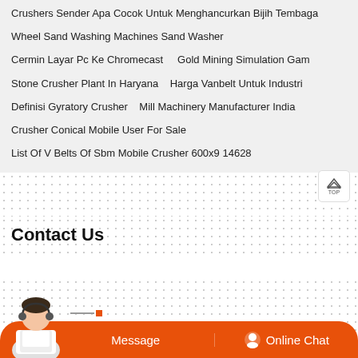Crushers Sender Apa Cocok Untuk Menghancurkan Bijih Tembaga
Wheel Sand Washing Machines Sand Washer
Cermin Layar Pc Ke Chromecast    Gold Mining Simulation Gam
Stone Crusher Plant In Haryana    Harga Vanbelt Untuk Industri
Definisi Gyratory Crusher    Mill Machinery Manufacturer India
Crusher Conical Mobile User For Sale
List Of V Belts Of Sbm Mobile Crusher 600x9 14628
Contact Us
[Figure (other): Customer service agent photo with orange message and online chat buttons at bottom]